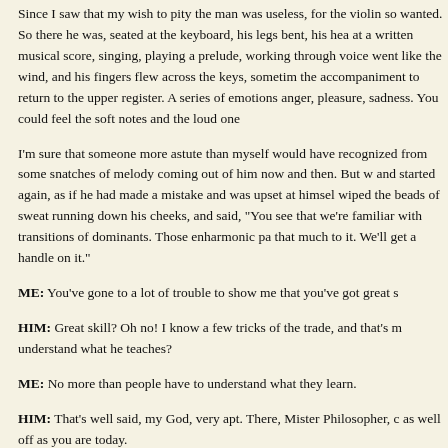Since I saw that my wish to pity the man was useless, for the violin so wanted. So there he was, seated at the keyboard, his legs bent, his head at a written musical score, singing, playing a prelude, working through voice went like the wind, and his fingers flew across the keys, sometim the accompaniment to return to the upper register. A series of emotions anger, pleasure, sadness. You could feel the soft notes and the loud one
I'm sure that someone more astute than myself would have recognized from some snatches of melody coming out of him now and then. But w and started again, as if he had made a mistake and was upset at himsel wiped the beads of sweat running down his cheeks, and said, "You see that we're familiar with transitions of dominants. Those enharmonic pa that much to it. We'll get a handle on it."
ME: You've gone to a lot of trouble to show me that you've got great s
HIM: Great skill? Oh no! I know a few tricks of the trade, and that's m understand what he teaches?
ME: No more than people have to understand what they learn.
HIM: That's well said, my God, very apt. There, Mister Philosopher, c as well off as you are today.
HE: I'm not all that well off even now.
HIM: But you'll no longer be going to the Luxembourg in summer. Yo